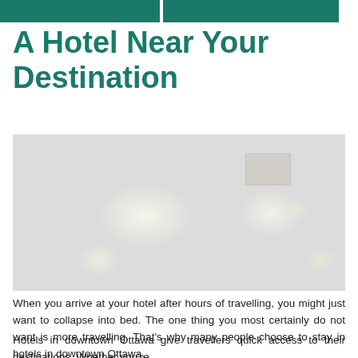A Hotel Near Your Destination
[Figure (photo): Faded grayish photo of a nighttime or low-light scene, possibly a fireworks display or city lights, with soft glowing light bursts against a light gray background. A rectangular box or window element is visible in the upper right area of the image.]
When you arrive at your hotel after hours of travelling, you might just want to collapse into bed. The one thing you most certainly do not want is more travelling. That’s why many people choose to stay in hotels in downtown Ottawa.
Hotels in downtown Ottawa give travellers quick access to their destinations. Whether you’re